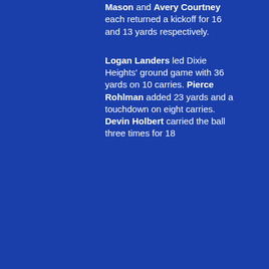Mason and Avery Courtney each returned a kickoff for 16 and 13 yards respectively.
Logan Landers led Dixie Heights' ground game with 36 yards on 10 carries. Pierce Rohlman added 23 yards and a touchdown on eight carries. Devin Holbert carried the ball three times for 18